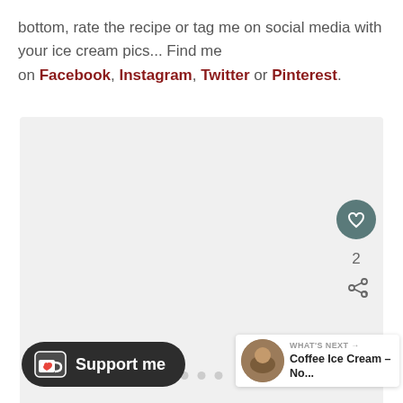bottom, rate the recipe or tag me on social media with your ice cream pics... Find me on Facebook, Instagram, Twitter or Pinterest.
[Figure (photo): Light gray image placeholder area with three small gray dots at the bottom center, and a teal heart icon button and share icon on the right side with a like count of 2]
[Figure (other): Dark rounded Support me button with a Ko-fi cup icon with heart, and a What's Next panel showing Coffee Ice Cream article thumbnail]